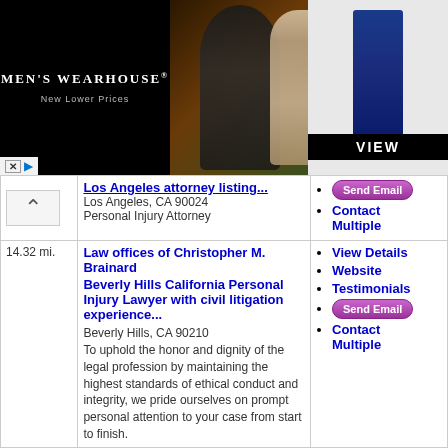[Figure (screenshot): Men's Wearhouse advertisement banner with couple in formalwear and VIEW button]
Los Angeles, CA 90024
Personal Injury Attorney
Send Email
Contact Multiple
14.32 mi.
Law offices of Christopher M. Brainard
Beverly Hills California Personal Injury Lawyer with civil litigation experience...
Beverly Hills, CA 90210
To uphold the honor and dignity of the legal profession by maintaining the highest standards of ethical conduct and integrity, we pride ourselves on prompt personal attention to your case from start to finish.
View Details
Website
Testimonials
Send Email
Contact Multiple
14.32 mi.
Law Offices of C. Michael Alder
Beverly Hills CA Personal Injury Lawyer
Beverly Hills, CA 90210
Law Offices of C. Michael Alder, P.C.
View Details
Website
Testimonials
Send Email
Contact